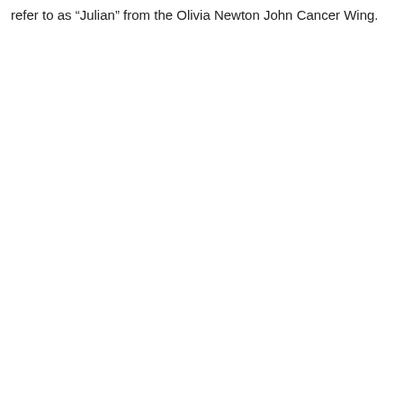refer to as “Julian” from the Olivia Newton John Cancer Wing.